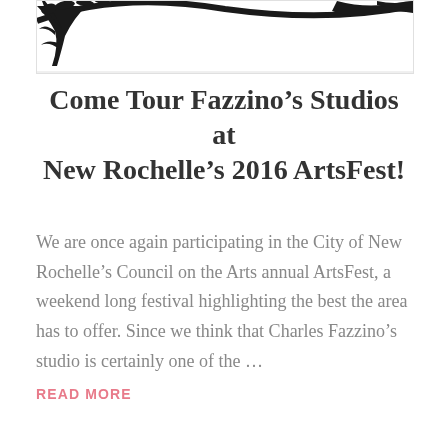[Figure (illustration): Partial black silhouette illustration of a tree with decorative branches, shown at the top of the page, partially cropped]
Come Tour Fazzino’s Studios at New Rochelle’s 2016 ArtsFest!
We are once again participating in the City of New Rochelle’s Council on the Arts annual ArtsFest, a weekend long festival highlighting the best the area has to offer. Since we think that Charles Fazzino’s studio is certainly one of the …
READ MORE